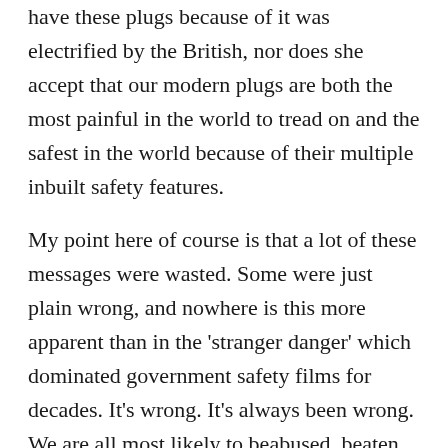have these plugs because of it was electrified by the British, nor does she accept that our modern plugs are both the most painful in the world to tread on and the safest in the world because of their multiple inbuilt safety features.

My point here of course is that a lot of these messages were wasted. Some were just plain wrong, and nowhere is this more apparent than in the 'stranger danger' which dominated government safety films for decades. It's wrong. It's always been wrong. We are all most likely to beabused, beaten, and murdered by someone we know. That is the simple fact of human behaviour. Statistically we are safer with complete strangers! Apart from anything else, paedophiles tend to be cunning, secretive, and convincing There is one particular